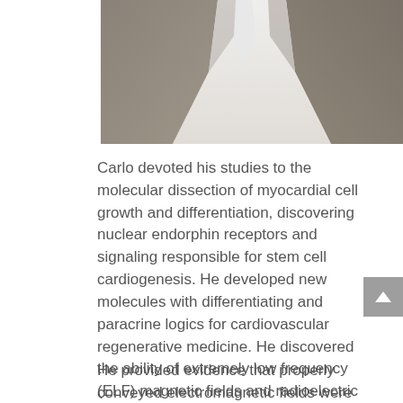[Figure (photo): Partial photo of a man in a grey suit jacket and white shirt, cropped to show torso/chest area]
Carlo devoted his studies to the molecular dissection of myocardial cell growth and differentiation, discovering nuclear endorphin receptors and signaling responsible for stem cell cardiogenesis. He developed new molecules with differentiating and paracrine logics for cardiovascular regenerative medicine. He discovered the ability of extremely low frequency (ELF) magnetic fields and radioelectric fields to enhance stem cell pluripotency, and afford direct reprogramming of human dermal skin fibroblasts to myocardial, neuronal, and skeletal muscle lineages.
He provided evidence that properly conveyed electromagnetic fields were able to revert stem cell